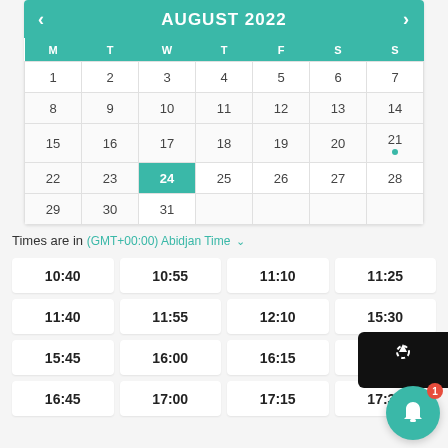AUGUST 2022
| M | T | W | T | F | S | S |
| --- | --- | --- | --- | --- | --- | --- |
| 1 | 2 | 3 | 4 | 5 | 6 | 7 |
| 8 | 9 | 10 | 11 | 12 | 13 | 14 |
| 15 | 16 | 17 | 18 | 19 | 20 | 21 • |
| 22 | 23 | 24 | 25 | 26 | 27 | 28 |
| 29 | 30 | 31 |  |  |  |  |
Times are in (GMT+00:00) Abidjan Time ▼
10:40
10:55
11:10
11:25
11:40
11:55
12:10
15:30
15:45
16:00
16:15
16:30
16:45
17:00
17:15
17:30